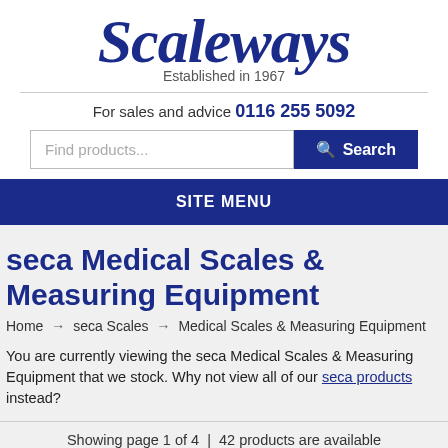[Figure (logo): Scaleways logo in dark blue italic script font with 'Established in 1967' subtitle]
For sales and advice 0116 255 5092
[Figure (other): Search bar with 'Find products...' placeholder and dark blue Search button with magnifying glass icon]
SITE MENU
seca Medical Scales & Measuring Equipment
Home → seca Scales → Medical Scales & Measuring Equipment
You are currently viewing the seca Medical Scales & Measuring Equipment that we stock. Why not view all of our seca products instead?
Showing page 1 of 4 | 42 products are available